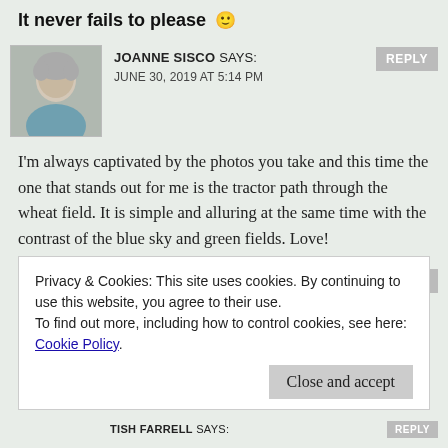It never fails to please 🙂
JOANNE SISCO SAYS:
JUNE 30, 2019 AT 5:14 PM
I'm always captivated by the photos you take and this time the one that stands out for me is the tractor path through the wheat field. It is simple and alluring at the same time with the contrast of the blue sky and green fields. Love!
TISH FARRELL SAYS:
JUNE 30, 2019 AT 6:01 PM
Privacy & Cookies: This site uses cookies. By continuing to use this website, you agree to their use.
To find out more, including how to control cookies, see here: Cookie Policy
Close and accept
TISH FARRELL SAYS: